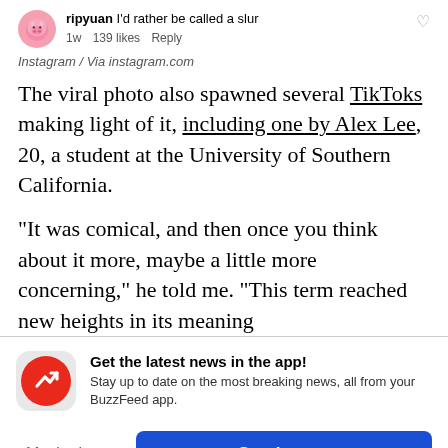[Figure (screenshot): Instagram comment from user 'ripyuan' saying 'I'd rather be called a slur', with a pink pig avatar, timestamp '1w', '139 likes', and 'Reply' link. Heart icon on the right.]
Instagram / Via instagram.com
The viral photo also spawned several TikToks making light of it, including one by Alex Lee, 20, a student at the University of Southern California.
“It was comical, and then once you think about it more, maybe a little more concerning,” he told me. “This term reached new heights in its meaning
[Figure (infographic): BuzzFeed app promotion banner with red circular BuzzFeed logo (white trending arrow icon), bold text 'Get the latest news in the app!', subtext 'Stay up to date on the most breaking news, all from your BuzzFeed app.', a 'Maybe later' blue text button, and a blue 'Get the app' button.]